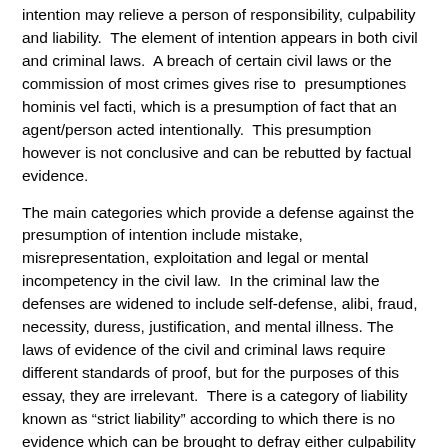intention may relieve a person of responsibility, culpability and liability.  The element of intention appears in both civil and criminal laws.  A breach of certain civil laws or the commission of most crimes gives rise to  presumptiones hominis vel facti, which is a presumption of fact that an agent/person acted intentionally.  This presumption however is not conclusive and can be rebutted by factual evidence.
The main categories which provide a defense against the presumption of intention include mistake, misrepresentation, exploitation and legal or mental incompetency in the civil law.  In the criminal law the defenses are widened to include self-defense, alibi, fraud, necessity, duress, justification, and mental illness. The laws of evidence of the civil and criminal laws require different standards of proof, but for the purposes of this essay, they are irrelevant.  There is a category of liability known as “strict liability” according to which there is no evidence which can be brought to defray either culpability or liability.  This would be the case in the trial of a spy, whose intentions are conclusively imputed because of the acts of spying he has carried out. The act of spying is a reflection of the intention to spy.  Similarly if treason is found to have been committed, then the